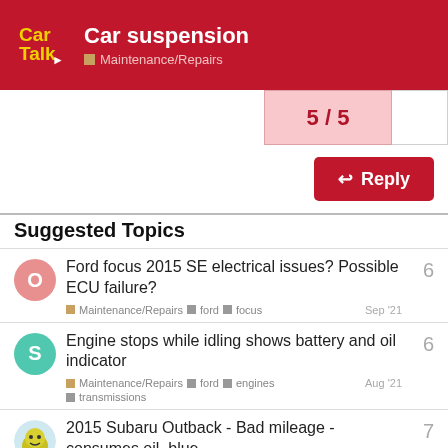Car Talk — Car suspension — Maintenance/Repairs
5 / 5
Reply
Suggested Topics
Ford focus 2015 SE electrical issues? Possible ECU failure?  Maintenance/Repairs  ford  focus  Sep '21  6
Engine stops while idling shows battery and oil indicator  Maintenance/Repairs  ford  engines  transmissions  Aug '21  6
2015 Subaru Outback - Bad mileage - consumes oil, blue  7